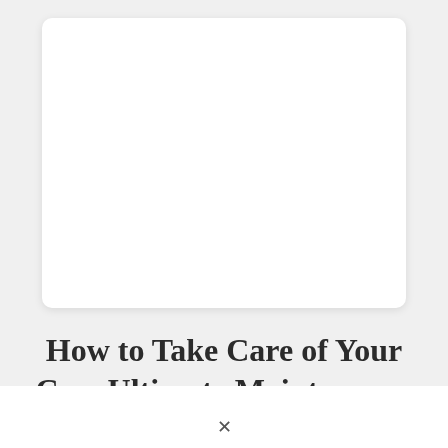[Figure (other): White rounded rectangle card on light grey background, representing an image placeholder area at the top of the page.]
How to Take Care of Your Car: Ultimate Maintenance Checklist